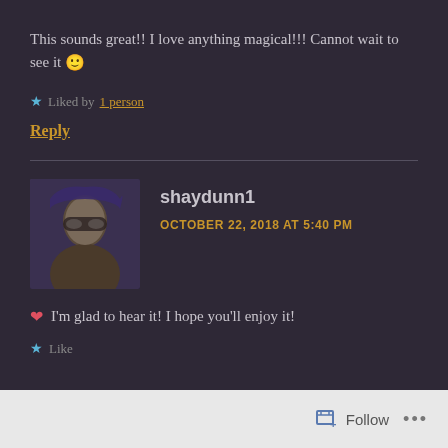This sounds great!! I love anything magical!!! Cannot wait to see it 🙂
★ Liked by 1 person
Reply
shaydunn1
OCTOBER 22, 2018 AT 5:40 PM
❤ I'm glad to hear it! I hope you'll enjoy it!
★ Like
Follow